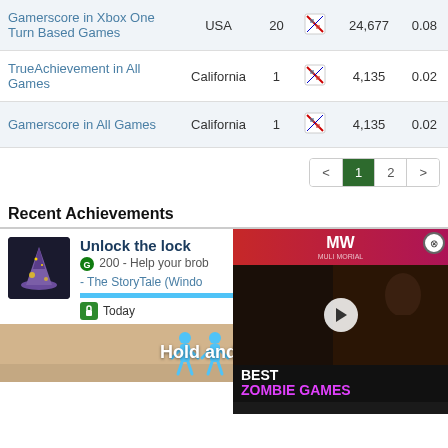| Name | Location | Rank | Icon | Score | Ratio |
| --- | --- | --- | --- | --- | --- |
| Gamerscore in Xbox One Turn Based Games | USA | 20 |  | 24,677 | 0.08 |
| TrueAchievement in All Games | California | 1 |  | 4,135 | 0.02 |
| Gamerscore in All Games | California | 1 |  | 4,135 | 0.02 |
Pagination: < 1 2 >
Recent Achievements
[Figure (screenshot): Achievement entry for 'Unlock the lock' showing a wizard hat icon, G 200 points, description 'Help your brob - The StoryTale (Windo', progress bar, and 'Today' unlock date. Overlaid by a BEST ZOMBIE GAMES video ad with play button.]
[Figure (screenshot): Bottom advertisement banner showing 'Hold and Move' with cartoon figures, close controls, and score 635.]